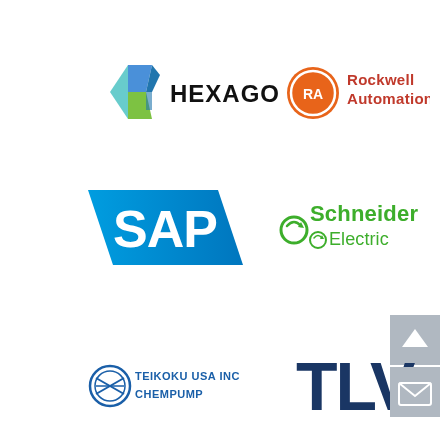[Figure (logo): Hexagon logo: colorful geometric hexagon icon with teal, blue, and green facets, followed by bold black text HEXAGON]
[Figure (logo): Rockwell Automation logo: orange circle with RA letters and Rockwell Automation text in red]
[Figure (logo): SAP logo: white SAP letters on blue parallelogram-shaped background]
[Figure (logo): Schneider Electric logo: green Schneider Electric text with green circular arrow icon]
[Figure (logo): Teikoku USA Inc Chempump logo: blue circular icon with text TEIKOKU USA INC CHEMPUMP]
[Figure (logo): TLV logo: large dark navy bold letters TLV]
[Figure (other): Navigation UI element: gray square with upward chevron arrow]
[Figure (other): Navigation UI element: gray square with envelope/email icon]